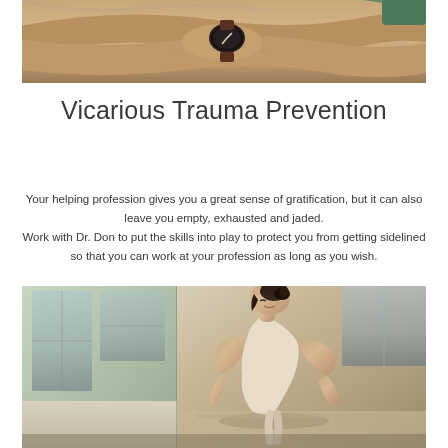[Figure (photo): Close-up photo of crossed arms of a person wearing a dark watch with a brown leather strap, hands resting on forearms]
Vicarious Trauma Prevention
Your helping profession gives you a great sense of gratification, but it can also leave you empty, exhausted and jaded.
Work with Dr. Don to put the skills into play to protect you from getting sidelined so that you can work at your profession as long as you wish.
[Figure (photo): Two-panel photo: left panel shows an indoor space with large windows and natural light; right panel shows a woman with dark hair in a bun leaning forward, wearing a light tank top, appearing to be exercising or stretching]